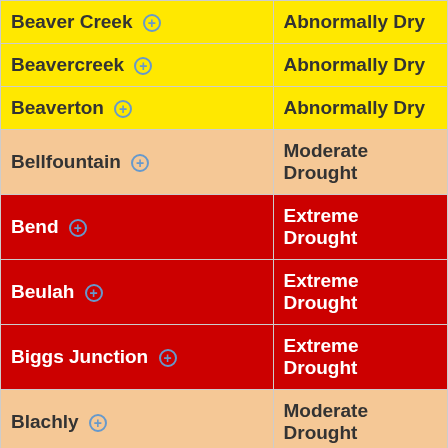| Location | Drought Status |
| --- | --- |
| Beaver Creek | Abnormally Dry |
| Beavercreek | Abnormally Dry |
| Beaverton | Abnormally Dry |
| Bellfountain | Moderate Drought |
| Bend | Extreme Drought |
| Beulah | Extreme Drought |
| Biggs Junction | Extreme Drought |
| Blachly | Moderate Drought |
| Black Butte Ranch | Moderate Drought |
| Blodgett | Abnormally Dry |